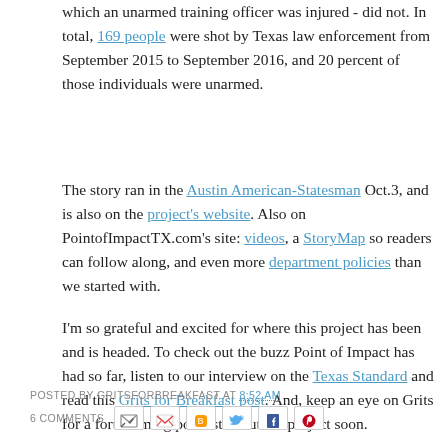which an unarmed training officer was injured - did not. In total, 169 people were shot by Texas law enforcement from September 2015 to September 2016, and 20 percent of those individuals were unarmed.
The story ran in the Austin American-Statesman Oct.3, and is also on the project's website. Also on PointofImpactTX.com's site: videos, a StoryMap so readers can follow along, and even more department policies than we started with.
I'm so grateful and excited for where this project has been and is headed. To check out the buzz Point of Impact has had so far, listen to our interview on the Texas Standard and read this Grits for Breakfast post. And, keep an eye on Grits for a forthcoming podcast about the project soon.
POSTED BY GRITSFORBREAKFAST AT 8:52 AM
6 COMMENTS